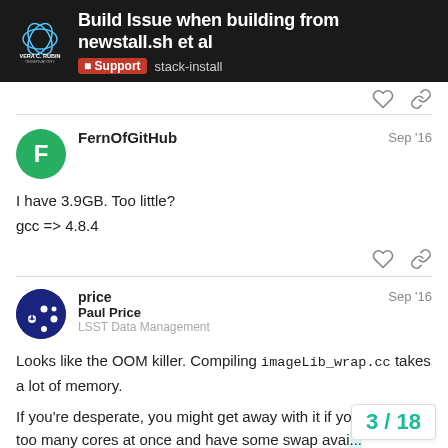Build Issue when building from newstall.sh et al — Support stack-install
FernOfGitHub Sep '16
I have 3.9GB. Too little?
gcc => 4.8.4
price Paul Price LSST Data Management Sep '16
Looks like the OOM killer. Compiling imageLib_wrap.cc takes a lot of memory.
If you're desperate, you might get away with it if you don't run too many cores at once and have some swap avai...
turning off debug symbols (SCONSFLAGS=...
3 / 18